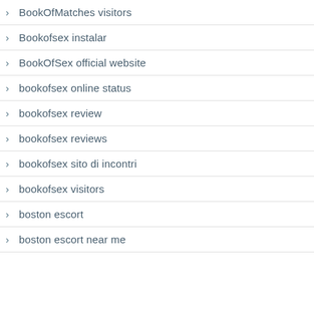BookOfMatches visitors
Bookofsex instalar
BookOfSex official website
bookofsex online status
bookofsex review
bookofsex reviews
bookofsex sito di incontri
bookofsex visitors
boston escort
boston escort near me